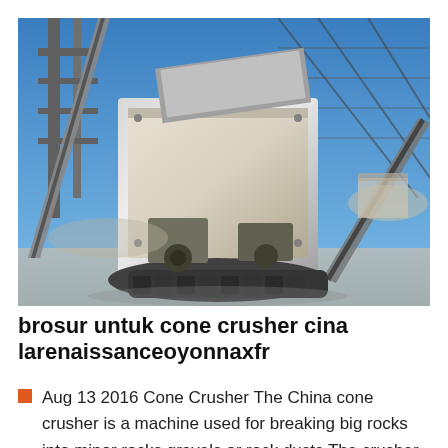[Figure (photo): Industrial cone crusher machine photographed outdoors at a mining or quarrying facility. Large metal crusher unit with conveyor belts and steel framework structure visible against a clear blue sky.]
brosur untuk cone crusher cina larenaissanceoyonnaxfr
Aug 13 2016 Cone Crusher The China cone crusher is a machine used for breaking big rocks into minor rocks gravels or rock dusts The crusher is widely used for all kinds of medium and fine